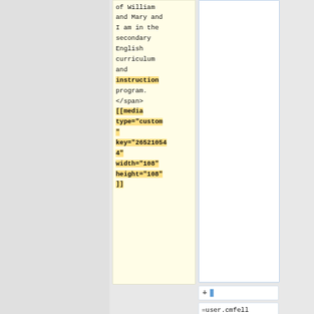of William
and Mary and
I am in the
secondary
English
curriculum
and
instruction
program.
</span>
[[media
type="custom"
key="26521054"
width="108"
height="108"
]]
+ [cursor]
=user.cmfell